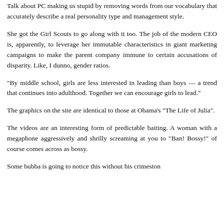Talk about PC making us stupid by removing words from our vocabulary that accurately describe a real personality type and management style.
She got the Girl Scouts to go along with it too. The job of the modern CEO is, apparently, to leverage her immutable characteristics in giant marketing campaigns to make the parent company immune to certain accusations of disparity. Like, I dunno, gender ratios.
"By middle school, girls are less interested in leading than boys — a trend that continues into adulthood. Together we can encourage girls to lead."
The graphics on the site are identical to those at Obama's "The Life of Julia".
The videos are an interesting form of predictable baiting. A woman with a megaphone aggressively and shrilly screaming at you to "Ban! Bossy!" of course comes across as bossy.
Some bubba is going to notice this without his crimeston...